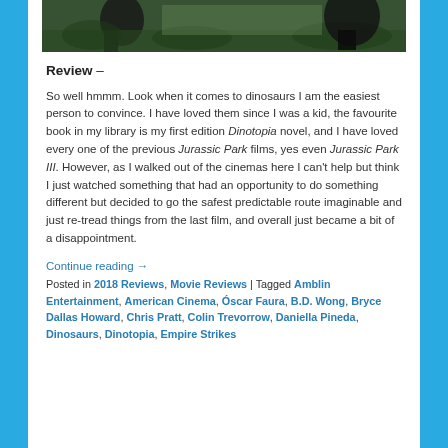[Figure (photo): Movie still from Jurassic World Fallen Kingdom showing dinosaurs in jungle setting]
Review –
So well hmmm. Look when it comes to dinosaurs I am the easiest person to convince. I have loved them since I was a kid, the favourite book in my library is my first edition Dinotopia novel, and I have loved every one of the previous Jurassic Park films, yes even Jurassic Park III. However, as I walked out of the cinemas here I can't help but think I just watched something that had an opportunity to do something different but decided to go the safest predictable route imaginable and just re-tread things from the last film, and overall just became a bit of a disappointment.
Continue reading →
Posted in 2018 Reviews, Movie Reviews | Tagged Amblin Entertainment, American Cinema, Óscar Faura, B.D. Wong, Bryce Dallas Howard, Chris Pratt, Colin Trevorrow, Daniella Pineda, Dinosaurs, Dinotopia, Empire Strikes